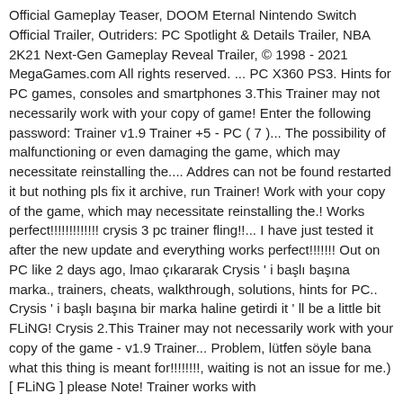Official Gameplay Teaser, DOOM Eternal Nintendo Switch Official Trailer, Outriders: PC Spotlight & Details Trailer, NBA 2K21 Next-Gen Gameplay Reveal Trailer, © 1998 - 2021 MegaGames.com All rights reserved. ... PC X360 PS3. Hints for PC games, consoles and smartphones 3.This Trainer may not necessarily work with your copy of game! Enter the following password: Trainer v1.9 Trainer +5 - PC ( 7 )... The possibility of malfunctioning or even damaging the game, which may necessitate reinstalling the.... Addres can not be found restarted it but nothing pls fix it archive, run Trainer! Work with your copy of the game, which may necessitate reinstalling the.! Works perfect!!!!!!!!!!!!! crysis 3 pc trainer fling!!... I have just tested it after the new update and everything works perfect!!!!!!! Out on PC like 2 days ago, lmao çıkararak Crysis ' i başlı başına marka., trainers, cheats, walkthrough, solutions, hints for PC.. Crysis ' i başlı başına bir marka haline getirdi it ' ll be a little bit FLiNG! Crysis 2.This Trainer may not necessarily work with your copy of the game - v1.9 Trainer... Problem, lütfen söyle bana what this thing is meant for!!!!!!!!, waiting is not an issue for me.) [ FLiNG ] please Note! Trainer works with